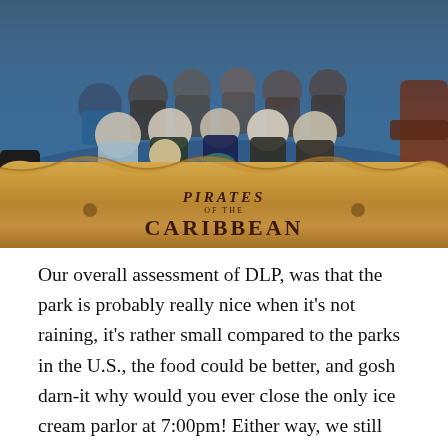[Figure (photo): Photo from Pirates of the Caribbean ride at Disneyland Paris (DLP). Shows a group of people in the ride boat. The lower portion shows a scroll-style banner with 'Pirates of the Caribbean' text in stylized brown lettering on a parchment/scroll background.]
Our overall assessment of DLP, was that the park is probably really nice when it's not raining, it's rather small compared to the parks in the U.S., the food could be better, and gosh darn-it why would you ever close the only ice cream parlor at 7:00pm! Either way, we still had a great time, because even if it's raining, it's always a good day for